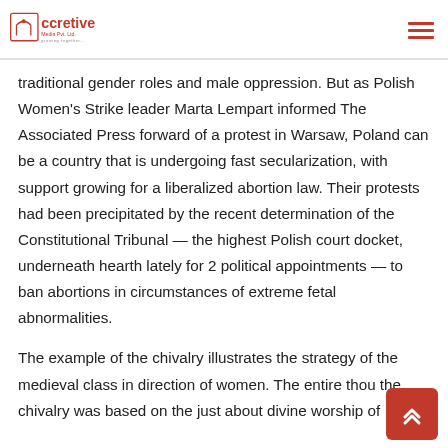ccretive Media Pvt. Ltd. growing together...
traditional gender roles and male oppression. But as Polish Women's Strike leader Marta Lempart informed The Associated Press forward of a protest in Warsaw, Poland can be a country that is undergoing fast secularization, with support growing for a liberalized abortion law. Their protests had been precipitated by the recent determination of the Constitutional Tribunal — the highest Polish court docket, underneath hearth lately for 2 political appointments — to ban abortions in circumstances of extreme fetal abnormalities.
The example of the chivalry illustrates the strategy of the medieval class in direction of women. The entire thou the chivalry was based on the just about divine worship of